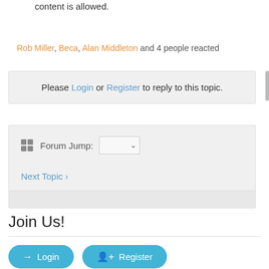content is allowed.
Rob Miller, Beca, Alan Middleton and 4 people reacted
Please Login or Register to reply to this topic.
Forum Jump: [dropdown] Next Topic >
Join Us!
Login   Register